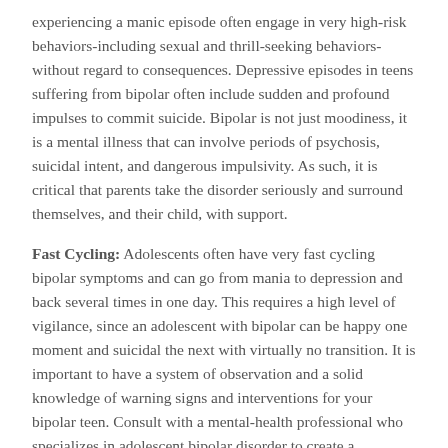experiencing a manic episode often engage in very high-risk behaviors-including sexual and thrill-seeking behaviors-without regard to consequences. Depressive episodes in teens suffering from bipolar often include sudden and profound impulses to commit suicide. Bipolar is not just moodiness, it is a mental illness that can involve periods of psychosis, suicidal intent, and dangerous impulsivity. As such, it is critical that parents take the disorder seriously and surround themselves, and their child, with support.
Fast Cycling: Adolescents often have very fast cycling bipolar symptoms and can go from mania to depression and back several times in one day. This requires a high level of vigilance, since an adolescent with bipolar can be happy one moment and suicidal the next with virtually no transition. It is important to have a system of observation and a solid knowledge of warning signs and interventions for your bipolar teen. Consult with a mental-health professional who specializes in adolescent bipolar disorder to create a monitoring checklist for your home.
Medication Resistance: Teens and adults with bipolar disorder often experience life as profoundly rich and textured. There is an unusually high occurrence of creativity, empathy, and insightfulness